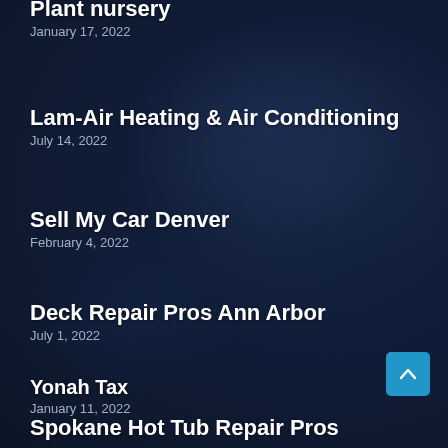Plant nursery
January 17, 2022
Lam-Air Heating & Air Conditioning
July 14, 2022
Sell My Car Denver
February 4, 2022
Deck Repair Pros Ann Arbor
July 1, 2022
Yonah Tax
January 11, 2022
Spokane Hot Tub Repair Pros
January 11, 2022